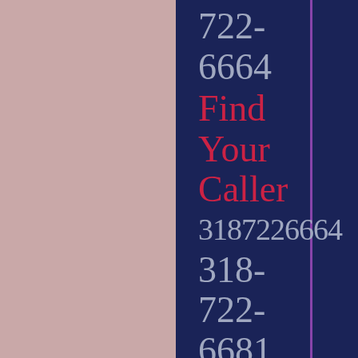722-6664
Find Your Caller
3187226664
318-722-6681
Find Your Caller
3187226681
318-722-6694